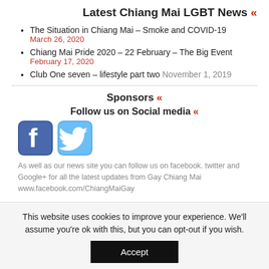Latest Chiang Mai LGBT News «
The Situation in Chiang Mai – Smoke and COVID-19
March 26, 2020
Chiang Mai Pride 2020 – 22 February – The Big Event
February 17, 2020
Club One seven – lifestyle part two November 1, 2019
Sponsors «
Follow us on Social media «
[Figure (logo): Facebook and Twitter social media icons]
As well as our news site you can follow us on facebook. twitter and Google+ for all the latest updates from Gay Chiang Mai www.facebook.com/ChiangMaiGay
This website uses cookies to improve your experience. We'll assume you're ok with this, but you can opt-out if you wish.